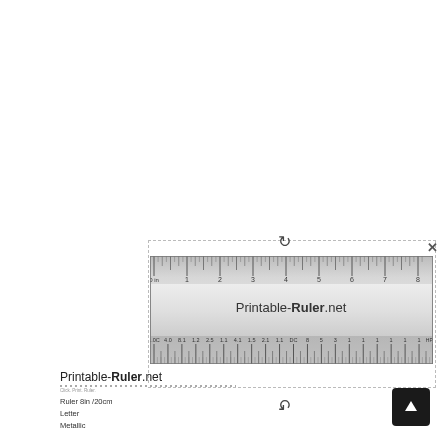[Figure (illustration): A printable metallic ruler showing inches on top and centimeters on bottom, spanning 8 inches / 20cm. Displayed within a dashed border box with rotation arrows and a close X button. The ruler has a gradient metallic appearance with tick marks and numbers. The center displays 'Printable-Ruler.net'.]
Printable-Ruler.net
Ruler 8in /20cm
Letter
metallic